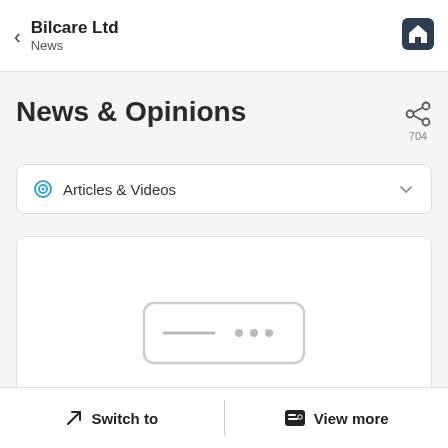Bilcare Ltd
News
News & Opinions
704
Articles & Videos
[Figure (illustration): Empty state illustration: a rounded rectangle placeholder with horizontal line and three dots representing no data available]
Hmm, looks like data is unavailable here. Please come back after some time.
Switch to | View more